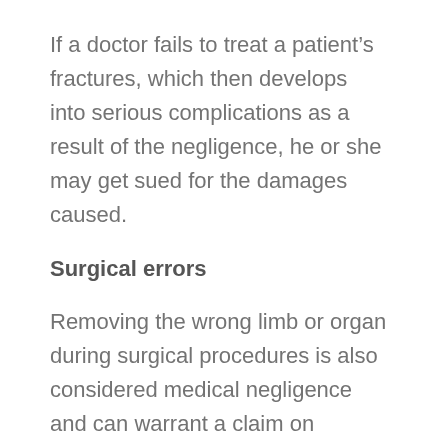If a doctor fails to treat a patient's fractures, which then develops into serious complications as a result of the negligence, he or she may get sued for the damages caused.
Surgical errors
Removing the wrong limb or organ during surgical procedures is also considered medical negligence and can warrant a claim on medical malpractice.
The process of recovering damages that arise from medical negligence is usually